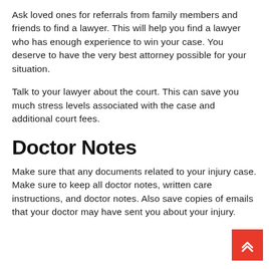Ask loved ones for referrals from family members and friends to find a lawyer. This will help you find a lawyer who has enough experience to win your case. You deserve to have the very best attorney possible for your situation.
Talk to your lawyer about the court. This can save you much stress levels associated with the case and additional court fees.
Doctor Notes
Make sure that any documents related to your injury case. Make sure to keep all doctor notes, written care instructions, and doctor notes. Also save copies of emails that your doctor may have sent you about your injury.